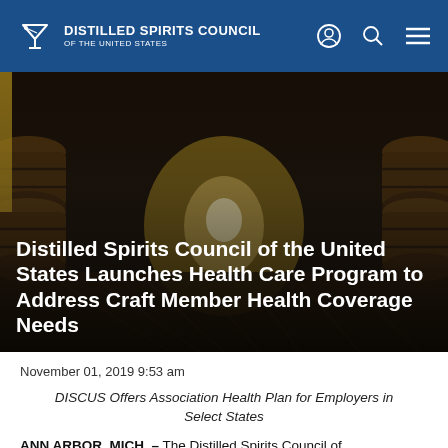DISTILLED SPIRITS COUNCIL OF THE UNITED STATES
[Figure (photo): Dark barrel warehouse corridor with stacked oak barrels, dramatic lighting from end of tunnel, overlaid with article headline text]
Distilled Spirits Council of the United States Launches Health Care Program to Address Craft Member Health Coverage Needs
November 01, 2019 9:53 am
DISCUS Offers Association Health Plan for Employers in Select States
ANN ARBOR, MICH. – The Distilled Spirits Council of